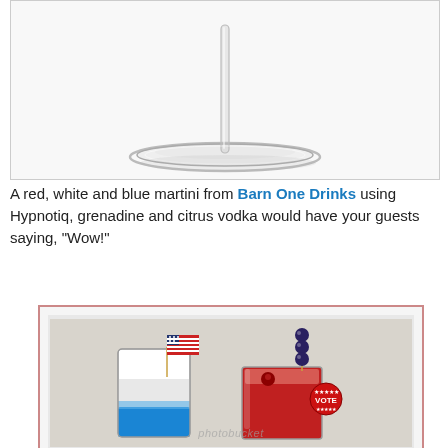[Figure (photo): A clear empty martini glass on a white background, showing the stem and base of the glass from the bottom portion.]
A red, white and blue martini from Barn One Drinks using Hypnotiq, grenadine and citrus vodka would have your guests saying, "Wow!"
[Figure (photo): Two patriotic cocktail drinks: one layered blue and white drink in a tall glass with a small American flag garnish, and one red drink in a rocks glass with blueberries on a skewer and a red VOTE button. Photobucket watermark visible.]